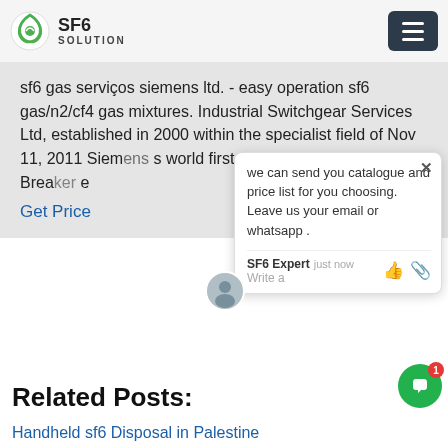SF6 SOLUTION
sf6 gas serviços siemens ltd. - easy operation sf6 gas/n2/cf4 gas mixtures. Industrial Switchgear Services Ltd, established in 2000 within the specialist field of Nov 11, 2011 Siemens world first 1200 kV SF6 Circuit Breaker Get Price
[Figure (screenshot): Chat popup with message: we can send you catalogue and price list for you choosing. Leave us your email or whatsapp. SF6 Expert just now. Write a message with emoji icons.]
Related Posts:
Handheld sf6 Disposal in Palestine
wika sf6 gas Servicing in Samoa
Advantages of sf6 gas Evacuation in Transnistria
how much sf6 re-use in Poland
iso sf6 n2 detector in Hungary